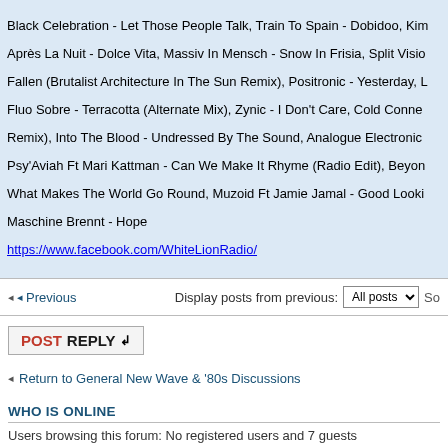...Living Corporation - Sequence 02, Frozen - As Tears In the Big... Black Celebration - Let Those People Talk, Train To Spain - Dobidoo, Kim... Après La Nuit - Dolce Vita, Massiv In Mensch - Snow In Frisia, Split Visio... Fallen (Brutalist Architecture In The Sun Remix), Positronic - Yesterday, L... Fluo Sobre - Terracotta (Alternate Mix), Zynic - I Don't Care, Cold Conne... Remix), Into The Blood - Undressed By The Sound, Analogue Electronic... Psy'Aviah Ft Mari Kattman - Can We Make It Rhyme (Radio Edit), Beyon... What Makes The World Go Round, Muzoid Ft Jamie Jamal - Good Looki... Maschine Brennt - Hope

https://www.facebook.com/WhiteLionRadio/
Previous | Display posts from previous: All posts | So...
POSTREPLY
Return to General New Wave & '80s Discussions
WHO IS ONLINE
Users browsing this forum: No registered users and 7 guests
Board index
Powered by phpBB® Forum Sof...